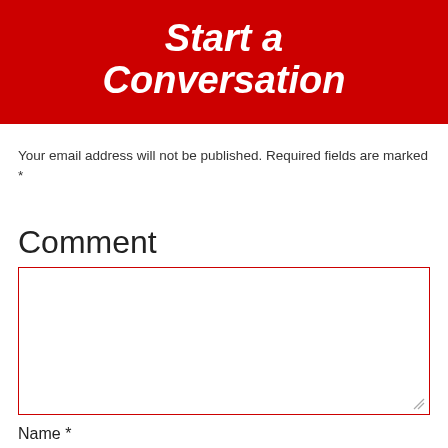Start a Conversation
Your email address will not be published. Required fields are marked *
Comment
[Figure (other): Comment text area input box with red border]
Name *